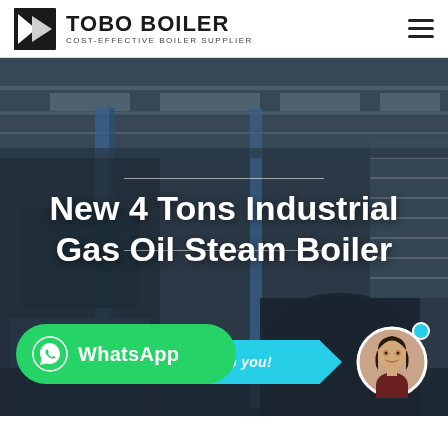TOBO BOILER COST-EFFECTIVE BOILER SUPPLIER
[Figure (photo): Industrial boiler factory interior with large equipment and blue steel structures, dark atmospheric background used as hero banner]
New 4 Tons Industrial Gas Oil Steam Boiler
Hey, let me help you!
[Figure (photo): Avatar of a smiling young woman in customer support role, circular crop]
WhatsApp